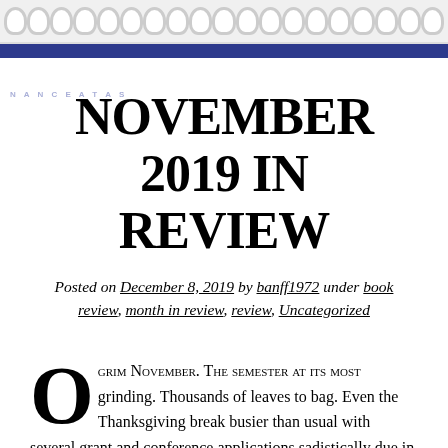NOVEMBER 2019 IN REVIEW — blog header with spiral calendar decoration and navy bar
NOVEMBER 2019 IN REVIEW
Posted on December 8, 2019 by banff1972 under book review, month in review, review, Uncategorized
O GRIM NOVEMBER. THE SEMESTER AT ITS MOST grinding. Thousands of leaves to bag. Even the Thanksgiving break busier than usual with several grant and conference applications sadistically due in